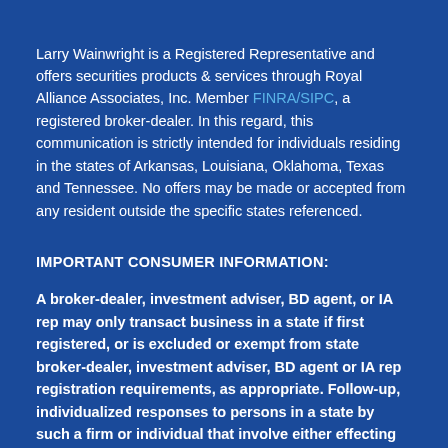Larry Wainwright is a Registered Representative and offers securities products & services through Royal Alliance Associates, Inc. Member FINRA/SIPC, a registered broker-dealer. In this regard, this communication is strictly intended for individuals residing in the states of Arkansas, Louisiana, Oklahoma, Texas and Tennessee. No offers may be made or accepted from any resident outside the specific states referenced.
IMPORTANT CONSUMER INFORMATION:
A broker-dealer, investment adviser, BD agent, or IA rep may only transact business in a state if first registered, or is excluded or exempt from state broker-dealer, investment adviser, BD agent or IA rep registration requirements, as appropriate. Follow-up, individualized responses to persons in a state by such a firm or individual that involve either effecting or attempting to effect transactions in securities, or the rendering of personalized investment advice for compensation, will not be